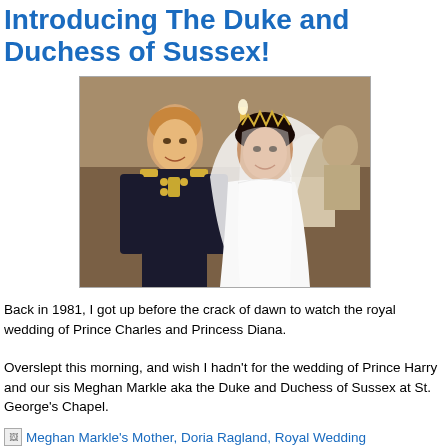Introducing The Duke and Duchess of Sussex!
[Figure (photo): Wedding photo of Prince Harry in military uniform and Meghan Markle in a white wedding gown with veil, smiling together inside a chapel.]
Back in 1981, I got up before the crack of dawn to watch the royal wedding of Prince Charles and Princess Diana.
Overslept this morning, and wish I hadn't for the wedding of Prince Harry and our sis Meghan Markle aka the Duke and Duchess of Sussex at St. George's Chapel.
Meghan Markle's Mother, Doria Ragland, Royal Wedding